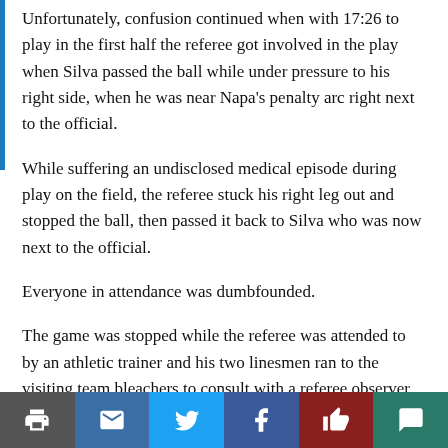Unfortunately, confusion continued when with 17:26 to play in the first half the referee got involved in the play when Silva passed the ball while under pressure to his right side, when he was near Napa's penalty arc right next to the official.
While suffering an undisclosed medical episode during play on the field, the referee stuck his right leg out and stopped the ball, then passed it back to Silva who was now next to the official.
Everyone in attendance was dumbfounded.
The game was stopped while the referee was attended to by an athletic trainer and his two linesmen ran to the visiting team bleachers to consult with a referee observer who was